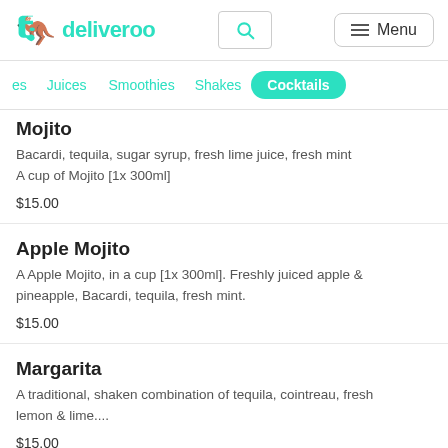deliveroo — search, menu
es | Juices | Smoothies | Shakes | Cocktails (active)
Mojito (partial)
Bacardi, tequila, sugar syrup, fresh lime juice, fresh mint A cup of Mojito [1x 300ml]
$15.00
Apple Mojito
A Apple Mojito, in a cup [1x 300ml]. Freshly juiced apple & pineapple, Bacardi, tequila, fresh mint.
$15.00
Margarita
A traditional, shaken combination of tequila, cointreau, fresh lemon & lime....
$15.00